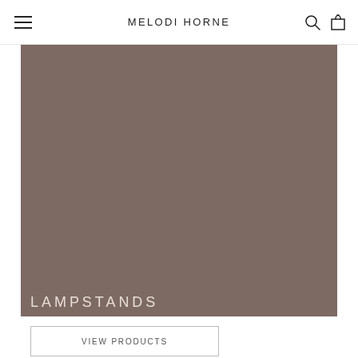MELODI HORNE
[Figure (photo): Large brownish-taupe colored rectangular hero image area, appearing to be a solid muted brown/mocha color background representing a lifestyle/product photo placeholder.]
LAMPSTANDS
VIEW PRODUCTS